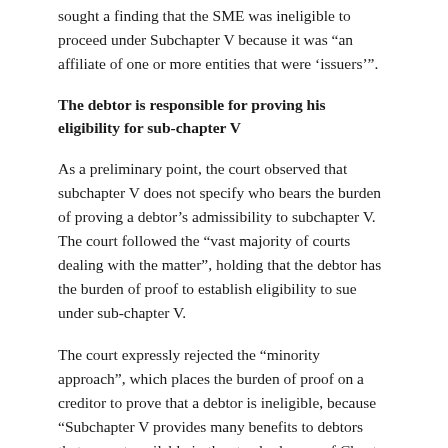sought a finding that the SME was ineligible to proceed under Subchapter V because it was “an affiliate of one or more entities that were ‘issuers’”.
The debtor is responsible for proving his eligibility for sub-chapter V
As a preliminary point, the court observed that subchapter V does not specify who bears the burden of proving a debtor’s admissibility to subchapter V. The court followed the “vast majority of courts dealing with the matter”, holding that the debtor has the burden of proof to establish eligibility to sue under sub-chapter V.
The court expressly rejected the “minority approach”, which places the burden of proof on a creditor to prove that a debtor is ineligible, because “Subchapter V provides many benefits to debtors that are not available in the standard cases of Chapter